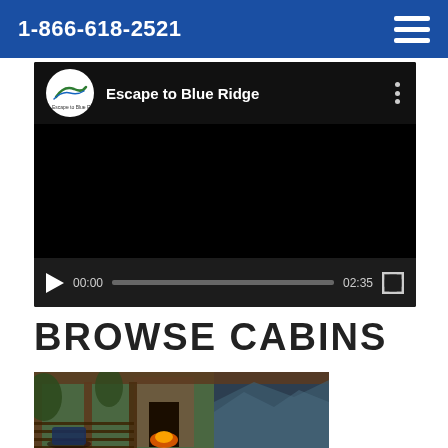1-866-618-2521
[Figure (screenshot): YouTube-style video player showing 'Escape to Blue Ridge' channel with black video area and controls showing 00:00 / 02:35]
BROWSE CABINS
[Figure (photo): Cabin porch with stone fireplace and mountain view, HDR photography]